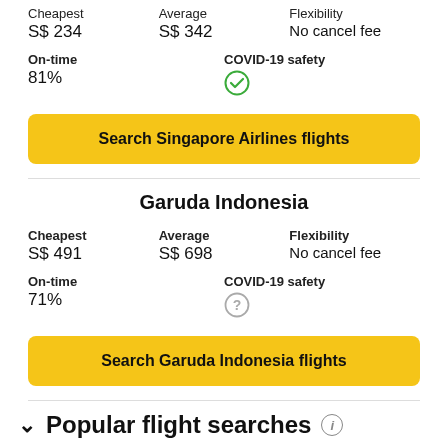Cheapest: S$ 234 | Average: S$ 342 | Flexibility: No cancel fee
On-time: 81% | COVID-19 safety: (green check)
Search Singapore Airlines flights
Garuda Indonesia
Cheapest: S$ 491 | Average: S$ 698 | Flexibility: No cancel fee
On-time: 71% | COVID-19 safety: (question mark)
Search Garuda Indonesia flights
Popular flight searches